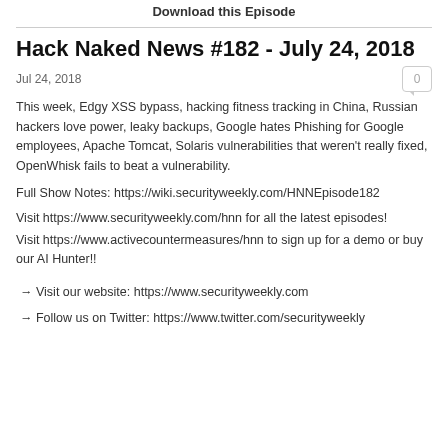Download this Episode
Hack Naked News #182 - July 24, 2018
Jul 24, 2018
This week, Edgy XSS bypass, hacking fitness tracking in China, Russian hackers love power, leaky backups, Google hates Phishing for Google employees, Apache Tomcat, Solaris vulnerabilities that weren't really fixed, OpenWhisk fails to beat a vulnerability.
Full Show Notes: https://wiki.securityweekly.com/HNNEpisode182
Visit https://www.securityweekly.com/hnn for all the latest episodes!
Visit https://www.activecountermeasures/hnn to sign up for a demo or buy our AI Hunter!!
→ Visit our website: https://www.securityweekly.com
→ Follow us on Twitter: https://www.twitter.com/securityweekly